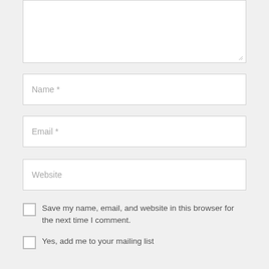[Figure (screenshot): Textarea form field (empty, with resize handle at bottom-right)]
[Figure (screenshot): Text input field with placeholder 'Name *']
[Figure (screenshot): Text input field with placeholder 'Email *']
[Figure (screenshot): Text input field with placeholder 'Website']
Save my name, email, and website in this browser for the next time I comment.
Yes, add me to your mailing list